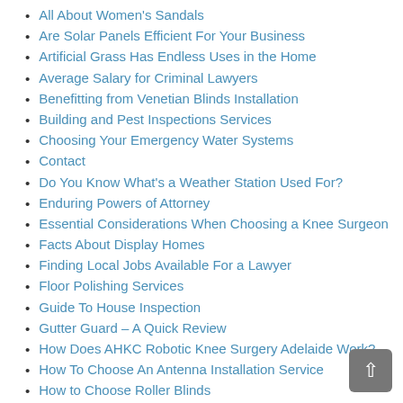All About Women's Sandals
Are Solar Panels Efficient For Your Business
Artificial Grass Has Endless Uses in the Home
Average Salary for Criminal Lawyers
Benefitting from Venetian Blinds Installation
Building and Pest Inspections Services
Choosing Your Emergency Water Systems
Contact
Do You Know What's a Weather Station Used For?
Enduring Powers of Attorney
Essential Considerations When Choosing a Knee Surgeon
Facts About Display Homes
Finding Local Jobs Available For a Lawyer
Floor Polishing Services
Guide To House Inspection
Gutter Guard – A Quick Review
How Does AHKC Robotic Knee Surgery Adelaide Work?
How To Choose An Antenna Installation Service
How to Choose Roller Blinds
How to Choose the Best Weighted Blanket
How to Find Reliable SEO Company in Adelaide